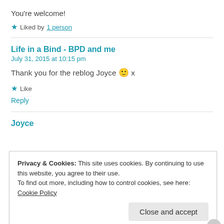You're welcome!
★ Liked by 1 person
Life in a Bind - BPD and me
July 31, 2015 at 10:15 pm
Thank you for the reblog Joyce 🙂 x
★ Like
Reply
Joyce
Privacy & Cookies: This site uses cookies. By continuing to use this website, you agree to their use.
To find out more, including how to control cookies, see here: Cookie Policy
Close and accept